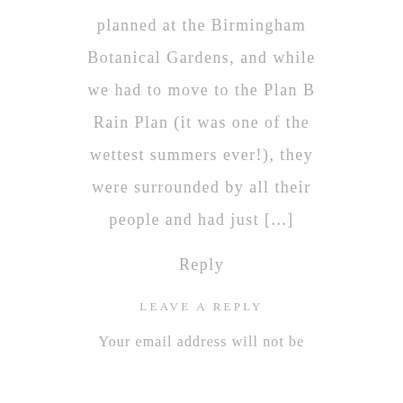planned at the Birmingham Botanical Gardens, and while we had to move to the Plan B Rain Plan (it was one of the wettest summers ever!), they were surrounded by all their people and had just [...]
Reply
LEAVE A REPLY
Your email address will not be